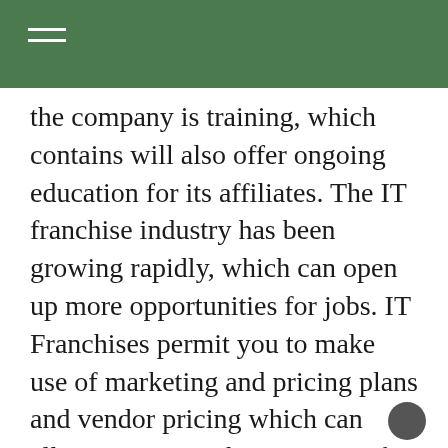the company is training, which contains will also offer ongoing education for its affiliates. The IT franchise industry has been growing rapidly, which can open up more opportunities for jobs. IT Franchises permit you to make use of marketing and pricing plans and vendor pricing which can allow you to get the most out of your IT business.
The IT industry is rapidly evolving. It has evolved from an “break and repair” approach to a 24/7 consulting model where you can provide the solutions, tools and services for medium and small-sized companies. This strategy of growth is challenging thousands of IT workers who are